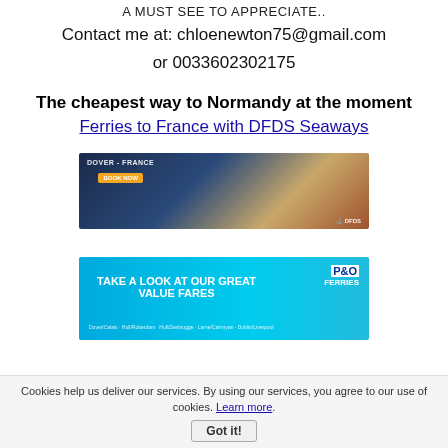A MUST SEE TO APPRECIATE..
Contact me at: chloenewton75@gmail.com
or 0033602302175
The cheapest way to Normandy at the moment Ferries to France with DFDS Seaways
[Figure (illustration): DFDS Seaways banner advertisement showing a ferry route, with an orange Book Now button and DFDS logo]
[Figure (illustration): P&O Ferries banner advertisement with text TAKE A LOOK AT OUR GREAT VALUE FARES on a blue background, listing routes and showing a person]
Cookies help us deliver our services. By using our services, you agree to our use of cookies. Learn more. Got it!